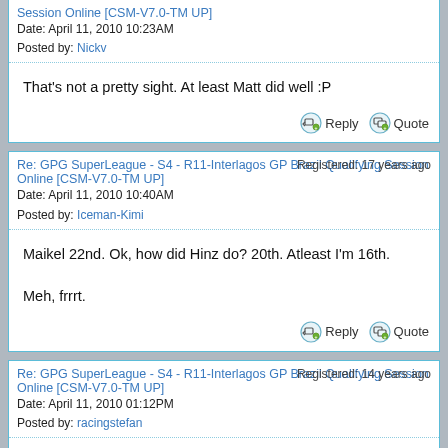Session Online [CSM-V7.0-TM UP]
Date: April 11, 2010 10:23AM
Posted by: Nickv
That's not a pretty sight. At least Matt did well :P
Re: GPG SuperLeague - S4 - R11-Interlagos GP Brazil Qualifying Session Online [CSM-V7.0-TM UP]
Registered: 17 years ago
Date: April 11, 2010 10:40AM
Posted by: Iceman-Kimi
Maikel 22nd. Ok, how did Hinz do? 20th. Atleast I'm 16th.

Meh, frrrt.
Re: GPG SuperLeague - S4 - R11-Interlagos GP Brazil Qualifying Session Online [CSM-V7.0-TM UP]
Registered: 14 years ago
Date: April 11, 2010 01:12PM
Posted by: racingstefan
8th and 9th is quite allright :)